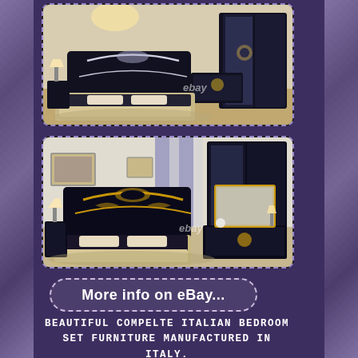[Figure (photo): Bedroom furniture set with black and silver/beige Italian style bed, nightstands, dresser and wardrobe - top photo with eBay watermark]
[Figure (photo): Bedroom furniture set with black and gold Italian style bed, nightstands, large mirror wardrobe and dresser - bottom photo with eBay watermark]
[Figure (other): More info on eBay... button with dashed border rounded rectangle]
BEAUTIFUL COMPELTE ITALIAN BEDROOM SET FURNITURE MANUFACTURED IN ITALY. WE HAVE DIFFERENT QUALITY IN THE